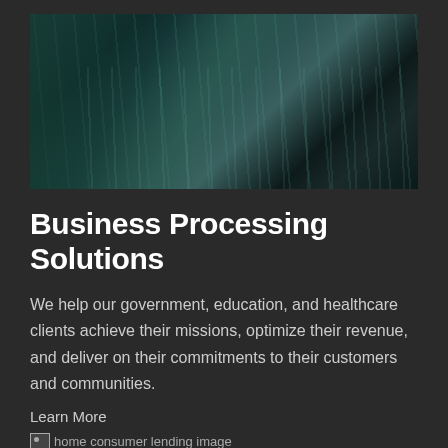[Figure (photo): Aerial view of highway interchange with vehicles and buildings, teal/dark tones]
Business Processing Solutions
We help our government, education, and healthcare clients achieve their missions, optimize their revenue, and deliver on their commitments to their customers and communities.
Learn More
[Figure (photo): home consumer lending image (broken image placeholder)]
Consumer Lending
We deliver a best-in-class customer experience that